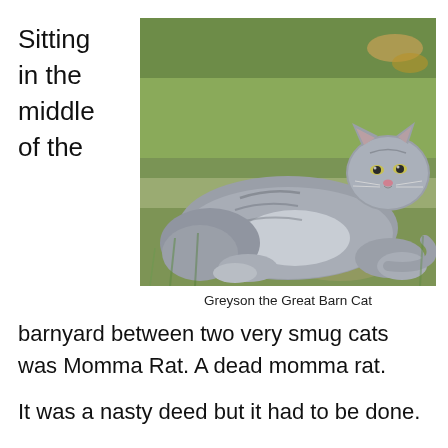Sitting in the middle of the
[Figure (photo): A grey tabby cat lying in grass, looking at the camera. The cat is large and appears relaxed, resting on green and brown ground cover.]
Greyson the Great Barn Cat
barnyard between two very smug cats was Momma Rat. A dead momma rat.
It was a nasty deed but it had to be done.
I have never seen two prouder cats in my